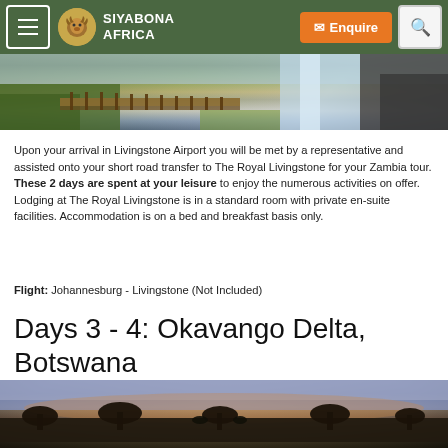Siyabona Africa — Navigation bar with menu, logo, Enquire button, and search
[Figure (photo): Aerial view of a wooden walkway/bridge leading toward Victoria Falls waterfall with lush green vegetation and rocky cliffs]
Upon your arrival in Livingstone Airport you will be met by a representative and assisted onto your short road transfer to The Royal Livingstone for your Zambia tour. These 2 days are spent at your leisure to enjoy the numerous activities on offer. Lodging at The Royal Livingstone is in a standard room with private en-suite facilities. Accommodation is on a bed and breakfast basis only.
Flight: Johannesburg - Livingstone (Not Included)
Days 3 - 4: Okavango Delta, Botswana
[Figure (photo): Sunset or dusk photo over Okavango Delta, Botswana, showing silhouettes of trees against a dusky sky with warm tones]